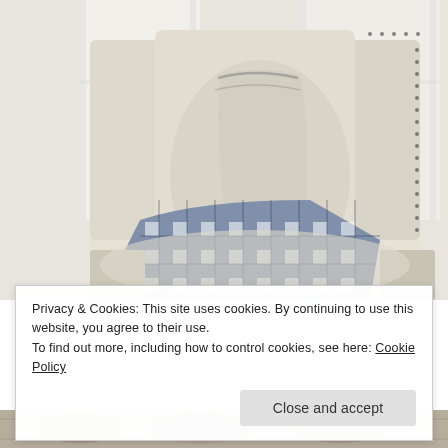[Figure (photo): A cream/beige upholstered wingback armchair with nailhead trim, a pillow with gray striped trim, and a navy blue and white gingham/plaid throw blanket draped over the arm. Bright window light in the background.]
Privacy & Cookies: This site uses cookies. By continuing to use this website, you agree to their use.
To find out more, including how to control cookies, see here: Cookie Policy
[Figure (photo): Partial view of another room scene visible at the bottom of the page.]